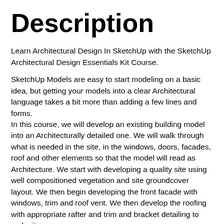Description
Learn Architectural Design In SketchUp with the SketchUp Architectural Design Essentials Kit Course.
SketchUp Models are easy to start modeling on a basic idea, but getting your models into a clear Architectural language takes a bit more than adding a few lines and forms.
In this course, we will develop an existing building model into an Architecturally detailed one. We will walk through what is needed in the site, in the windows, doors, facades, roof and other elements so that the model will read as Architecture. We start with developing a quality site using well compositioned vegetation and site groundcover layout. We then begin developing the front facade with windows, trim and roof vent. We then develop the roofing with appropriate rafter and trim and bracket detailing to make it